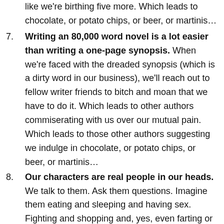like we're birthing five more. Which leads to chocolate, or potato chips, or beer, or martinis…
7. Writing an 80,000 word novel is a lot easier than writing a one-page synopsis. When we're faced with the dreaded synopsis (which is a dirty word in our business), we'll reach out to fellow writer friends to bitch and moan that we have to do it. Which leads to other authors commiserating with us over our mutual pain. Which leads to those other authors suggesting we indulge in chocolate, or potato chips, or beer, or martinis…
8. Our characters are real people in our heads. We talk to them. Ask them questions. Imagine them eating and sleeping and having sex. Fighting and shopping and, yes, even farting or burping. We watch movies and imagine how our own characters would react in certain scenes. We read continually with them in our heads.